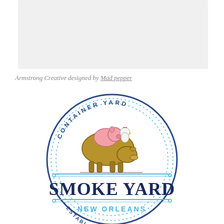[Figure (logo): Gray rectangular banner/image area at top of page]
Armstrong Creative designed by Mad pepper
[Figure (logo): Smoke Yard Container Yard New Orleans Established 2017 circular stamp logo featuring a cow with a pig sitting on its back and a chicken, with text arcing around the circle and 'SMOKE YARD' in large bold serif text across a horizontal band, 'NEW ORLEANS' in blue below, and 'ESTABLISHED 2017' along the bottom arc.]